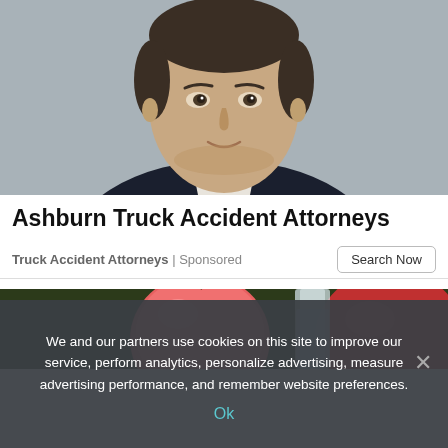[Figure (photo): Professional headshot of a middle-aged man in a dark suit with white shirt, gray background]
Ashburn Truck Accident Attorneys
Truck Accident Attorneys | Sponsored
[Figure (photo): Partial photo showing red apples and a glass of water on a dark background]
We and our partners use cookies on this site to improve our service, perform analytics, personalize advertising, measure advertising performance, and remember website preferences.
Ok